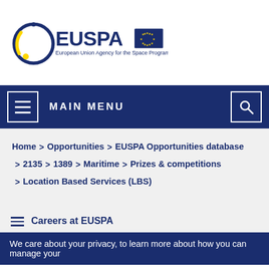[Figure (logo): EUSPA – European Union Agency for the Space Programme logo with circular blue/yellow emblem and EU flag]
MAIN MENU
Home > Opportunities > EUSPA Opportunities database > 2135 > 1389 > Maritime > Prizes & competitions > Location Based Services (LBS)
Careers at EUSPA
We care about your privacy, to learn more about how you can manage your